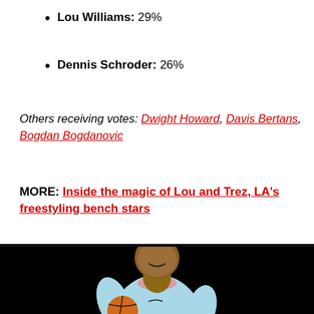Lou Williams: 29%
Dennis Schroder: 26%
Others receiving votes: Dwight Howard, Davis Bertans, Bogdan Bogdanovic
MORE: Inside the magic of Lou and Trez, LA's freestyling bench stars
[Figure (photo): Basketball player in a light blue Clippers jersey dribbling a ball against a black background]